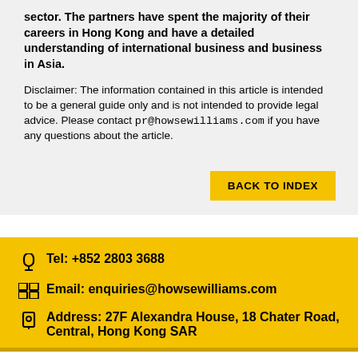sector. The partners have spent the majority of their careers in Hong Kong and have a detailed understanding of international business and business in Asia.
Disclaimer: The information contained in this article is intended to be a general guide only and is not intended to provide legal advice. Please contact pr@howsewilliams.com if you have any questions about the article.
BACK TO INDEX
Tel: +852 2803 3688
Email: enquiries@howsewilliams.com
Address: 27F Alexandra House, 18 Chater Road, Central, Hong Kong SAR